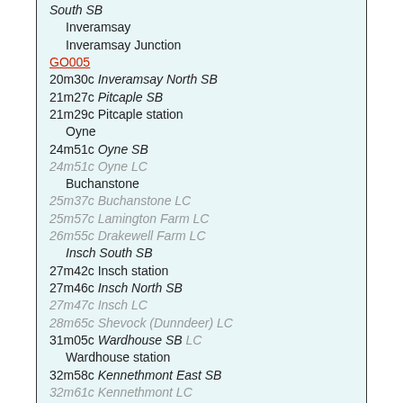South SB
Inveramsay
Inveramsay Junction
GO005
20m30c Inveramsay North SB
21m27c Pitcaple SB
21m29c Pitcaple station
Oyne
24m51c Oyne SB
24m51c Oyne LC
Buchanstone
25m37c Buchanstone LC
25m57c Lamington Farm LC
26m55c Drakewell Farm LC
Insch South SB
27m42c Insch station
27m46c Insch North SB
27m47c Insch LC
28m65c Shevock (Dunndeer) LC
31m05c Wardhouse SB LC
Wardhouse station
32m58c Kennethmont East SB
32m61c Kennethmont LC
32m63c Kennethmont